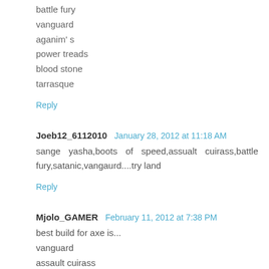battle fury
vanguard
aganim' s
power treads
blood stone
tarrasque
Reply
Joeb12_6112010  January 28, 2012 at 11:18 AM
sange yasha,boots of speed,assualt cuirass,battle fury,satanic,vangaurd....try land
Reply
Mjolo_GAMER  February 11, 2012 at 7:38 PM
best build for axe is...
vanguard
assault cuirass
heart of tarasque